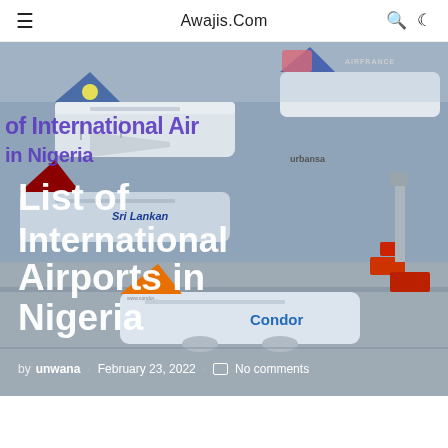Awajis.Com
[Figure (photo): Airport tarmac scene showing multiple commercial aircraft from airlines including Air France, Lufthansa, SriLankan, and Condor, with airport ground equipment visible. Purple overlay text reads 'of International Airports in Nigeria'.]
List of International Airports in Nigeria
by unwana · February 23, 2022 · No comments